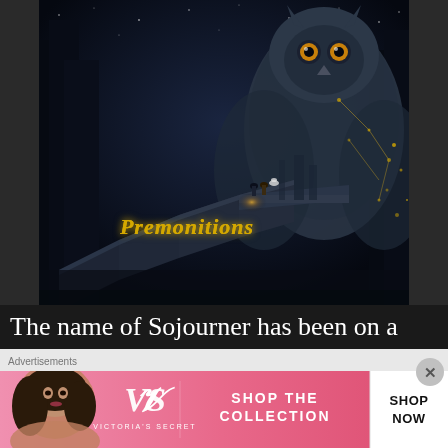[Figure (illustration): Fantasy book cover titled 'Premonitions' featuring a dark forest scene with a giant owl, two small figures standing on stone steps with glowing light, and constellation-like golden lines in the background. The title 'Premonitions' appears in golden italic gothic font near the bottom of the cover.]
The name of Sojourner has been on a meteoric rise recently with good reason as their sound has become a
Advertisements
[Figure (advertisement): Victoria's Secret advertisement banner with pink gradient background, model on left, VS logo in center-left, 'SHOP THE COLLECTION' text in center, and 'SHOP NOW' white button on right.]